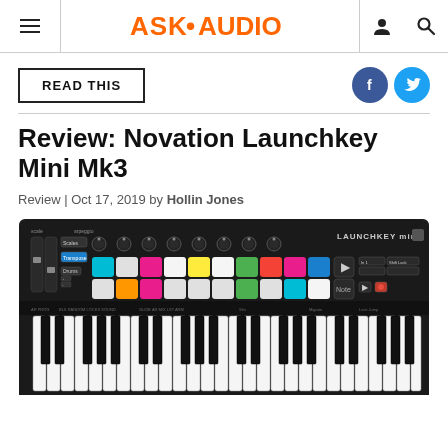ASK•AUDIO
READ THIS
Review: Novation Launchkey Mini Mk3
Review | Oct 17, 2019 by Hollin Jones
[Figure (photo): Photo of Novation Launchkey Mini Mk3 MIDI keyboard controller with colorful pads and piano keys]